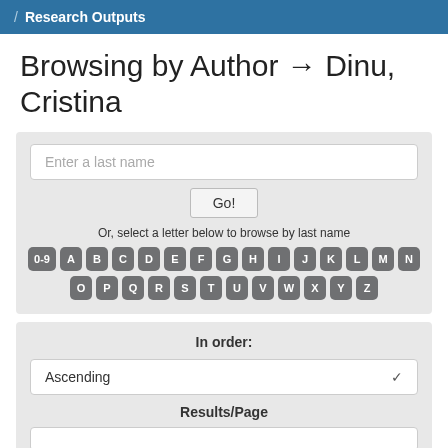/ Research Outputs
Browsing by Author → Dinu, Cristina
Enter a last name
Go!
Or, select a letter below to browse by last name
0-9 A B C D E F G H I J K L M N O P Q R S T U V W X Y Z
In order:
Ascending
Results/Page